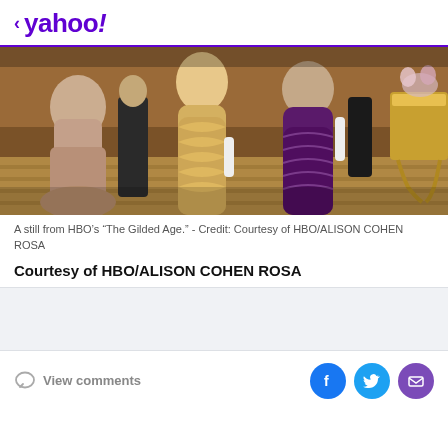< yahoo!
[Figure (photo): A still from HBO's The Gilded Age showing women in period costume ball gowns — cream/gold, golden lace, and purple embroidered — standing in an ornate interior with a gilded console table visible at right.]
A still from HBO’s “The Gilded Age.” - Credit: Courtesy of HBO/ALISON COHEN ROSA
Courtesy of HBO/ALISON COHEN ROSA
View comments